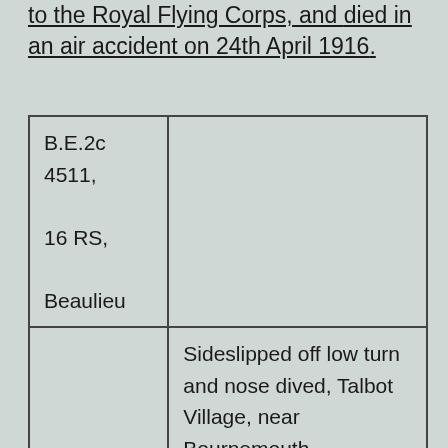to the Royal Flying Corps, and died in an air accident on 24th April 1916.
| B.E.2c 4511, 16 RS, Beaulieu |  |
|  | Sideslipped off low turn and nose dived, Talbot Village, near Bournemouth |
|  | 2Lt Edward William Wise Rebbeck (19) killed |
|  |  |